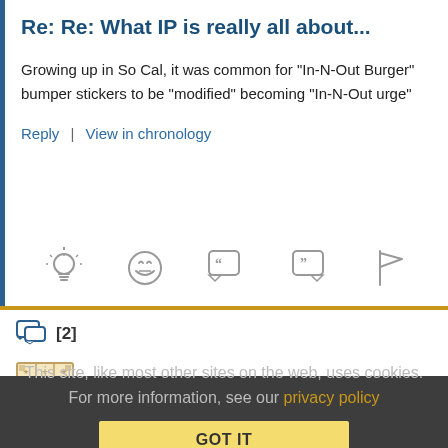Re: Re: What IP is really all about...
Growing up in So Cal, it was common for "In-N-Out Burger" bumper stickers to be "modified" becoming "In-N-Out urge"
Reply | View in chronology
[Figure (infographic): Row of 5 action icons: lightbulb (insight), laughing emoji, open-quote speech bubble, close-quote speech bubble, flag]
[2]
[Figure (illustration): Anonymous Coward avatar: decorative square icon with geometric pattern in gold/tan]
Anonymous Coward   August 9, 2021 at 10:46 pm
This site, like most other sites on the web, uses cookies. For more information, see our privacy policy
GOT IT